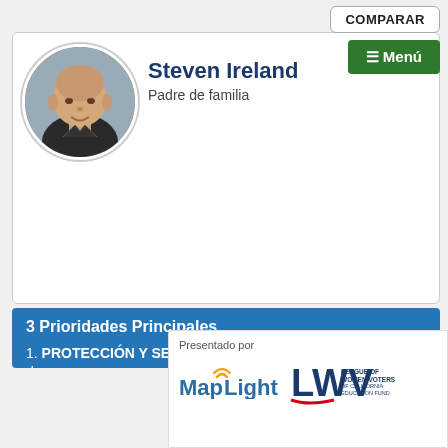COMPARAR
≡ Menú
[Figure (photo): Circular profile photo of Steven Ireland, a middle-aged bald man smiling, wearing a dark jacket]
Steven Ireland
Padre de familia
3 Prioridades Principales
1. PROTECCIÓN Y SEGURIDAD: necesitamos asegurarnos de...
2. INFRAESTRUCTURA ESCOLAR: nuestras escuelas están cayéndose...
3. BIENESTAR... California...
Presentado por
[Figure (logo): MapLight logo]
[Figure (logo): League of Women Voters of California Education Fund logo]